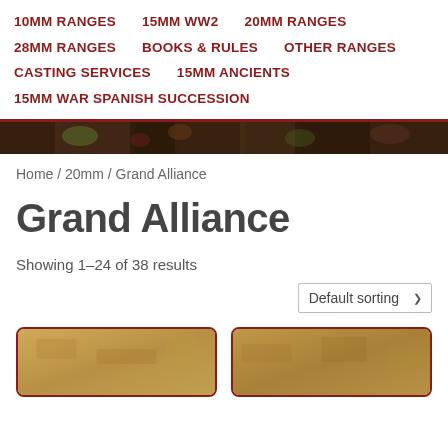10MM RANGES   15MM WW2   20MM RANGES   28MM RANGES   BOOKS & RULES   OTHER RANGES   CASTING SERVICES   15MM ANCIENTS   15MM WAR SPANISH SUCCESSION
[Figure (photo): Banner image showing painted miniature figures, dark tones with greens and reds]
Home / 20mm / Grand Alliance
Grand Alliance
Showing 1–24 of 38 results
Default sorting
[Figure (photo): Product card 1 - tan/brown surface, partial view]
[Figure (photo): Product card 2 - tan/brown surface, partial view]